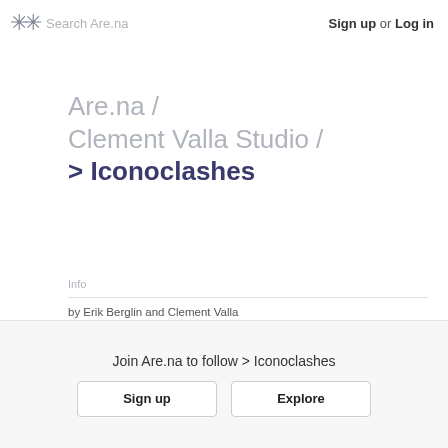✳✳ Search Are.na   Sign up or Log in
Are.na / Clement Valla Studio / > Iconoclashes
Info
by Erik Berglin and Clement Valla
"Iconoclashes" are a clashing of objects in various time periods, in an assortment of cultures, representing a multiplicity of religions,
Join Are.na to follow > Iconoclashes
Sign up   Explore